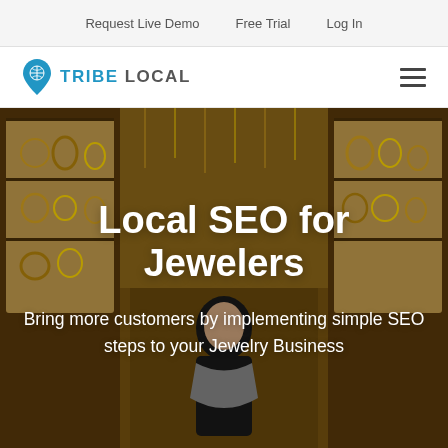Request Live Demo   Free Trial   Log In
[Figure (logo): Tribe Local logo with blue location pin icon and text TRIBE LOCAL]
[Figure (photo): Jewelry store display cases filled with gold necklaces and jewelry, with a person browsing in the foreground, serving as hero background image]
Local SEO for Jewelers
Bring more customers by implementing simple SEO steps to your Jewelry Business